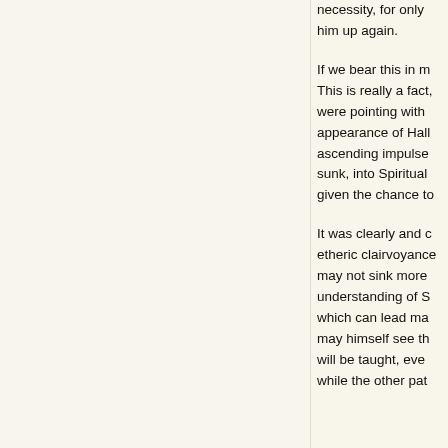necessity, for only him up again.
If we bear this in m... This is really a fact, were pointing with appearance of Halll ascending impulse sunk, into Spiritual given the chance to
It was clearly and c... etheric clairvoyance may not sink more understanding of S... which can lead ma... may himself see th... will be taught, eve... while the other pat...